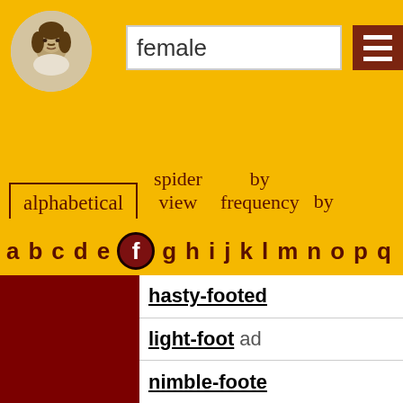[Figure (illustration): Shakespeare portrait circular icon in header]
female
alphabetical   spider view   by frequency   by
a b c d e f g h i j k l m n o p q
hasty-footed
light-foot ad
nimble-foote